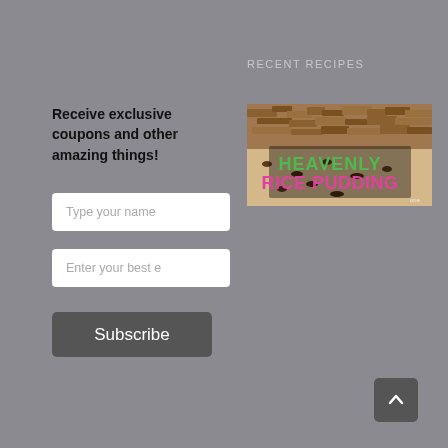RECENT RECIPES
Receive exclusive coupons and other amazing things!
[Figure (photo): Photo of rice pudding dish with text overlay reading 'HEAVENLY RICE PUDDING' in green and pink letters]
Type your name
Enter your best e
Subscribe